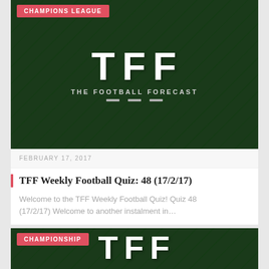[Figure (illustration): TFF (The Football Forecast) logo on dark green textured background with 'Quiz' banner in orange, tagged with 'CHAMPIONS LEAGUE' badge]
FEBRUARY 17, 2017
TFF Weekly Football Quiz: 48 (17/2/17)
Welcome to the TFF Weekly Football Quiz! Quiz 48 (17/2/17) Welcome to another instalment in…
[Figure (illustration): TFF (The Football Forecast) logo on dark green textured background, tagged with 'CHAMPIONSHIP' badge]